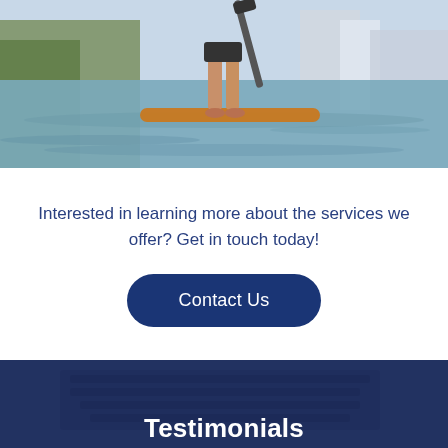[Figure (photo): Person standing on a paddleboard on a lake/river, holding a paddle, with trees and buildings in background. Low-angle shot showing water ripples.]
Interested in learning more about the services we offer? Get in touch today!
Contact Us
[Figure (photo): Dark navy blue overlay on a laptop keyboard image, with 'Testimonials' text shown in white bold at the bottom.]
Testimonials